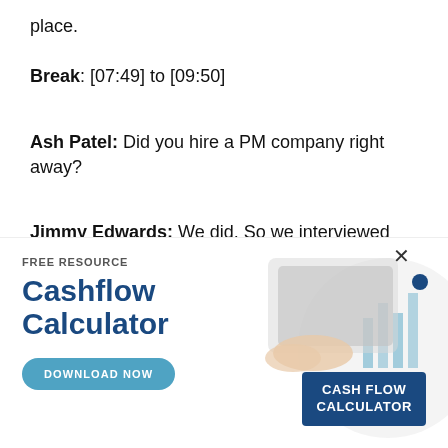place.
Break: [07:49] to [09:50]
Ash Patel: Did you hire a PM company right away?
Jimmy Edwards: We did. So we interviewed several property management companies and
[Figure (infographic): Advertisement for a free Cashflow Calculator resource. Shows 'FREE RESOURCE' text, 'Cashflow Calculator' title in dark blue bold font, a 'DOWNLOAD NOW' button in light blue, a photo of hands holding a tablet with charts, and a dark blue card labeled 'CASH FLOW CALCULATOR'. There is an X close button and a blue dot in the upper right corner.]